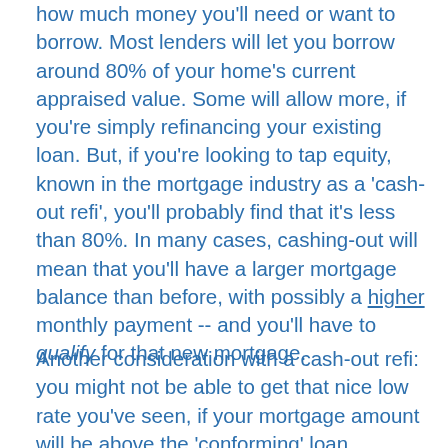how much money you'll need or want to borrow. Most lenders will let you borrow around 80% of your home's current appraised value. Some will allow more, if you're simply refinancing your existing loan. But, if you're looking to tap equity, known in the mortgage industry as a 'cash-out refi', you'll probably find that it's less than 80%. In many cases, cashing-out will mean that you'll have a larger mortgage balance than before, with possibly a higher monthly payment -- and you'll have to qualify for that new mortgage.
Another consideration with a cash-out refi: you might not be able to get that nice low rate you've seen, if your mortgage amount will be above the 'conforming' loan amount. Conforming loans are sold to large secondary market investors -- mostly to Fannie Mae and Freddie Mac -- and since they buy so many, the rates are often lower. However, loans above the conforming limit, known as